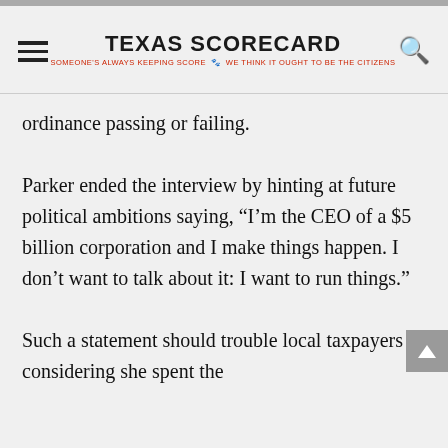TEXAS SCORECARD — SOMEONE'S ALWAYS KEEPING SCORE · WE THINK IT OUGHT TO BE THE CITIZENS
ordinance passing or failing.
Parker ended the interview by hinting at future political ambitions saying, “I’m the CEO of a $5 billion corporation and I make things happen. I don’t want to talk about it: I want to run things.”
Such a statement should trouble local taxpayers considering she spent the